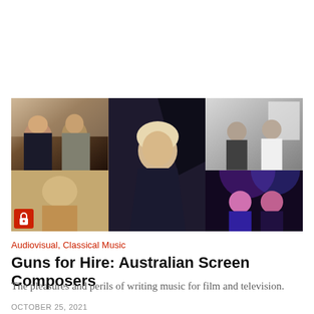[Figure (photo): A collage of four photos showing Australian screen composers: two men smiling (left), a blonde woman at a piano (center), two people sitting in a studio in black and white (top right), and two women performing on stage (bottom right). A red lock icon appears at bottom left of the collage.]
Audiovisual, Classical Music
Guns for Hire: Australian Screen Composers
The pleasures and perils of writing music for film and television.
OCTOBER 25, 2021